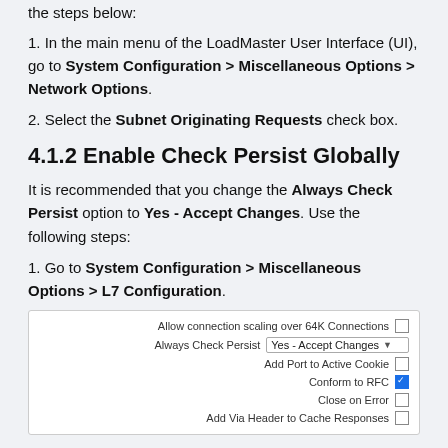the steps below:
1. In the main menu of the LoadMaster User Interface (UI), go to System Configuration > Miscellaneous Options > Network Options.
2. Select the Subnet Originating Requests check box.
4.1.2 Enable Check Persist Globally
It is recommended that you change the Always Check Persist option to Yes - Accept Changes. Use the following steps:
1. Go to System Configuration > Miscellaneous Options > L7 Configuration.
[Figure (screenshot): UI screenshot showing L7 Configuration options including: Allow connection scaling over 64K Connections (unchecked), Always Check Persist (Yes - Accept Changes selected), Add Port to Active Cookie (unchecked), Conform to RFC (checked), Close on Error (unchecked), Add Via Header to Cache Responses (unchecked)]